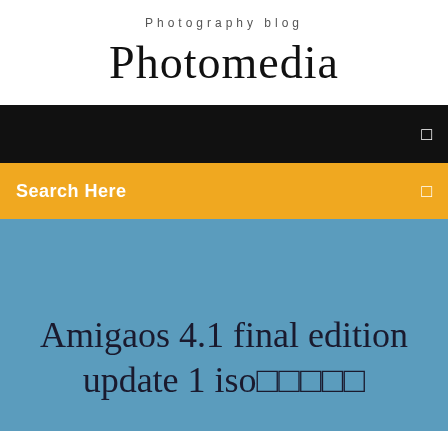Photography blog
Photomedia
[Figure (screenshot): Black navigation bar with a menu icon on the right]
[Figure (screenshot): Yellow/amber search bar with 'Search Here' text on the left and a search icon on the right]
Amigaos 4.1 final edition update 1 iso🔲🔲🔲🔲🔲